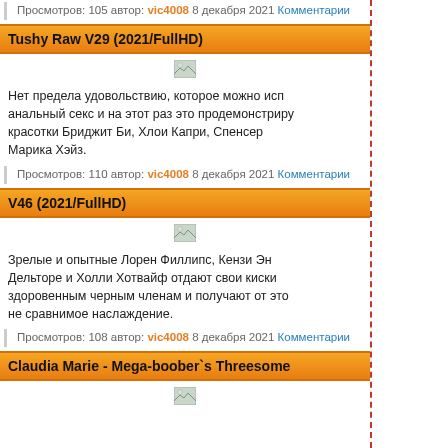Просмотров: 105 автор: vic4008 8 декабря 2021 Комментарии
Tushy Raw V29 (2021/FullHD)
[Figure (photo): Thumbnail image placeholder]
Нет предела удовольствию, которое можно исп... анальный секс и на этот раз это продемонстриру... красотки Бриджит Би, Хлои Капри, Спенсер... Марика Хэйз.
Просмотров: 110 автор: vic4008 8 декабря 2021 Комментарии
V46 (2021/FullHD)
[Figure (photo): Thumbnail image placeholder]
Зрелые и опытные Лорен Филлипс, Кензи Эн... Дельторе и Холли Хотвайф отдают свои киски... здоровенным черным членам и получают от это... не сравнимое наслаждение.
Просмотров: 108 автор: vic4008 8 декабря 2021 Комментарии
Claudia Marie - Mega-boober`s Threesome
[Figure (photo): Thumbnail image placeholder]